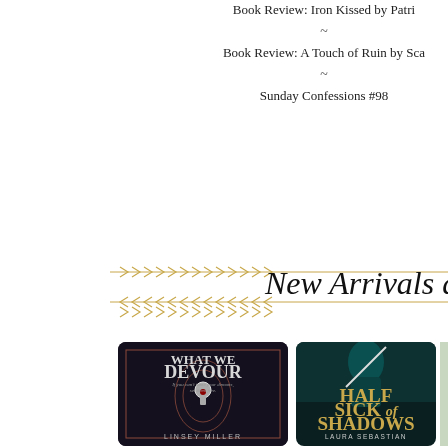Book Review: Iron Kissed by Patri~
Book Review: A Touch of Ruin by Sca~
Sunday Confessions #98
[Figure (illustration): Decorative banner with gold arrow chevron pattern and cursive text reading 'New Arrivals at Com']
[Figure (photo): Book cover: What We Devour by Linsey Miller — dark cover with keyhole motif]
[Figure (photo): Book cover: Half Sick of Shadows by Laura Sebastian — teal dark cover with female figure]
[Figure (photo): Book cover: partially visible third book by Josi S — lavender field cover]